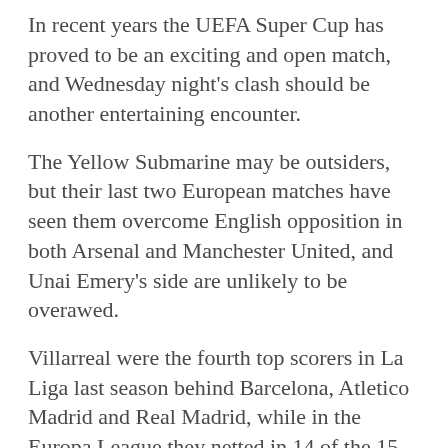In recent years the UEFA Super Cup has proved to be an exciting and open match, and Wednesday night's clash should be another entertaining encounter.
The Yellow Submarine may be outsiders, but their last two European matches have seen them overcome English opposition in both Arsenal and Manchester United, and Unai Emery's side are unlikely to be overawed.
Villarreal were the fourth top scorers in La Liga last season behind Barcelona, Atletico Madrid and Real Madrid, while in the Europa League they netted in 14 of the 15 matches they contested.
Chelsea, too, were regular scorers in the Champions League last term, failing to find the back of the net just twice in 13 games, and with the UEFA Super Cup having a history of seeing plenty of goals, there should be plenty of interest in opposing either side